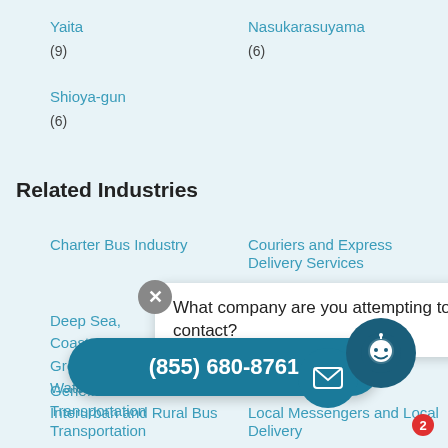Yaita
(9)
Nasukarasuyama
(6)
Shioya-gun
(6)
Related Industries
Charter Bus Industry
Couriers and Express Delivery Services
Deep Sea, Coastal and Great Lakes Water Transportation
What company are you attempting to contact?
(855) 680-8761
General ... Inland ... Transportation
Interurban and Rural Bus Transportation
Local Messengers and Local Delivery